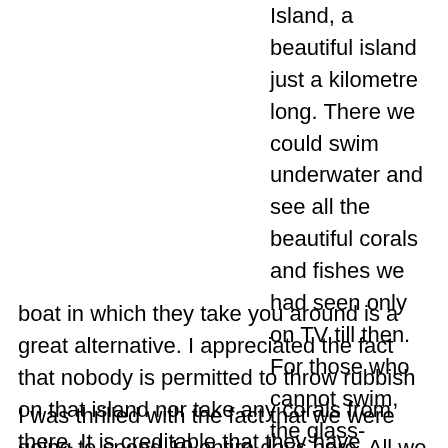Island, a beautiful island just a kilometre long. There we could swim underwater and see all the beautiful corals and fishes we had seen only on TV till then. For those who cannot swim, the glass-bottomed boat in which they take you around is a great alternative. I appreciated the fact that nobody is permitted to throw rubbish on that island nor take any corals from there. It is creditable that they have managed to keep it so clean and beautiful with the constant inflow of tourists. Why can't we do this in all tourist spots in India?
I was thrilled with the fact that we were going to spend 10 entire days here. All we had to do was look at the sea, enjoy